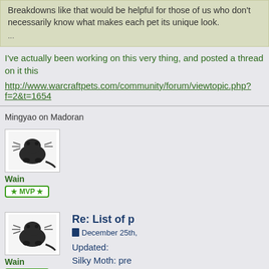Breakdowns like that would be helpful for those of us who don't necessarily know what makes each pet its unique look.
...
I've actually been working on this very thing, and posted a thread on it this
http://www.warcraftpets.com/community/forum/viewtopic.php?f=2&t=1654
Mingyao on Madoran
[Figure (photo): Avatar image of a dark rat/mouse creature for user Wain]
Wain
★ MVP ★
[Figure (photo): Avatar image of a dark rat/mouse creature for user Wain (second post)]
Wain
★ MVP ★
Re: List of p
December 25th,
Updated:
Silky Moth: pre
Swamp Moth: c
[Figure (photo): Avatar image of a dark rat/mouse creature (third post, partially visible)]
Re: List of pet colour varia